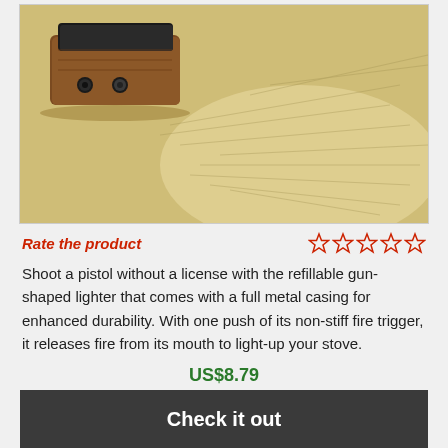[Figure (photo): Close-up photo of a gun-shaped lighter with brown/copper metal casing and black top, resting on a yellowed paper or map background]
Rate the product
Shoot a pistol without a license with the refillable gun-shaped lighter that comes with a full metal casing for enhanced durability. With one push of its non-stiff fire trigger, it releases fire from its mouth to light-up your stove.
US$8.79
Check it out
Gerber Fastball EDC Knife